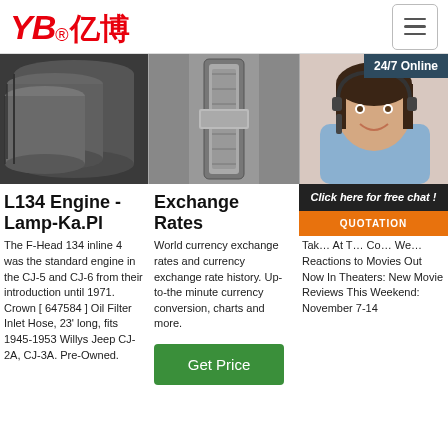[Figure (logo): YB亿博 logo in red with registered trademark symbol]
[Figure (photo): Three dark metal pipes/tubes stacked together]
[Figure (photo): Metal tool/part - appears to be a worn mechanical component]
[Figure (photo): Customer service woman wearing headset with 24/7 Online banner]
24/7 Online
L134 Engine - Lamp-Ka.Pl
The F-Head 134 inline 4 was the standard engine in the CJ-5 and CJ-6 from their introduction until 1971. Crown [ 647584 ] Oil Filter Inlet Hose, 23' long, fits 1945-1953 Willys Jeep CJ-2A, CJ-3A. Pre-Owned.
Exchange Rates
World currency exchange rates and currency exchange rate history. Up-to-the minute currency conversion, charts and more.
Get Price
Wh... Th... Arc...
Tak... At T... Co... We... Reactions to Movies Out Now In Theaters: New Movie Reviews This Weekend: November 7-14
Click here for free chat !
QUOTATION